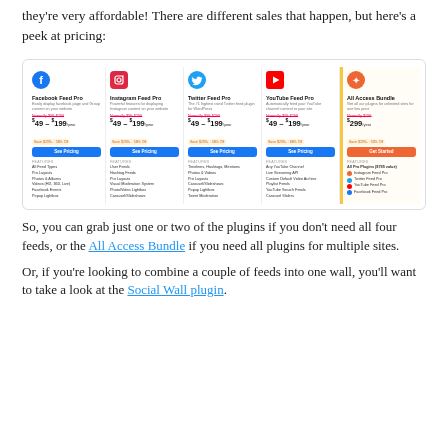they're very affordable! There are different sales that happen, but here's a peek at pricing:
[Figure (screenshot): Pricing table screenshot showing Facebook Feed Pro, Instagram Feed Pro, Twitter Feed Pro, YouTube Feed Pro, and All Access Bundle. Each shows price range $49–$199/year (All Access Bundle $299/year), normally $99-$299 crossed out, Save $299+ 58% Off badges, See Pricing / Get Started buttons, and feature lists.]
So, you can grab just one or two of the plugins if you don't need all four feeds, or the All Access Bundle if you need all plugins for multiple sites.
Or, if you're looking to combine a couple of feeds into one wall, you'll want to take a look at the Social Wall plugin.